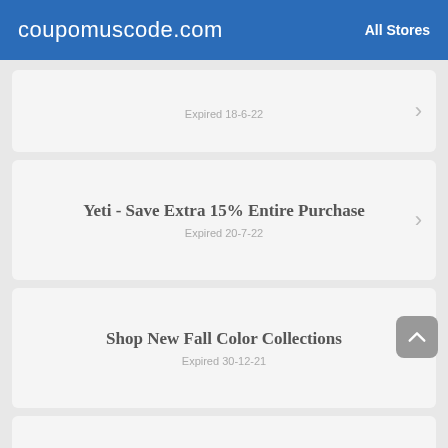coupomuscode.com   All Stores
Expired 18-6-22
Yeti - Save Extra 15% Entire Purchase
Expired 20-7-22
Shop New Fall Color Collections
Expired 30-12-21
Free Customization